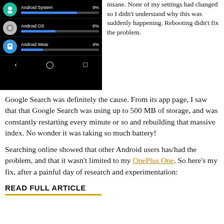[Figure (screenshot): Android battery usage screenshot showing Android System at 9%, Android OS at 6%, Android Wear at 4%, with blue progress bars on dark background, and a navigation bar at the bottom.]
insane. None of my settings had changed so I didn't understand why this was suddenly happening. Rebooting didn't fix the problem.
Google Search was definitely the cause. From its app page, I saw that that Google Search was using up to 500 MB of storage, and was constantly restarting every minute or so and rebuilding that massive index. No wonder it was taking so much battery!
Searching online showed that other Android users has/had the problem, and that it wasn't limited to my OnePlus One. So here's my fix, after a painful day of research and experimentation:
READ FULL ARTICLE